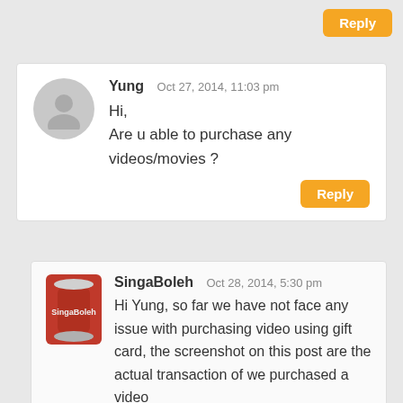Reply
Yung    Oct 27, 2014, 11:03 pm
Hi,
Are u able to purchase any videos/movies ?
Reply
SingaBoleh    Oct 28, 2014, 5:30 pm
Hi Yung, so far we have not face any issue with purchasing video using gift card, the screenshot on this post are the actual transaction of we purchased a video